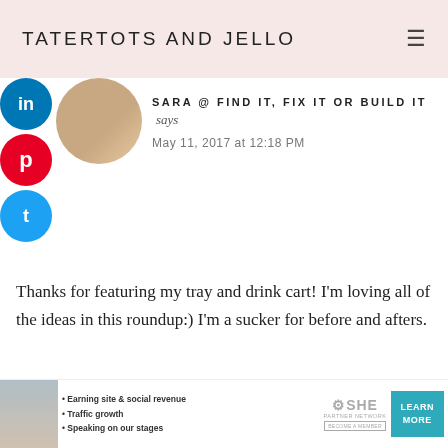TATERTOTS AND JELLO
SARA @ FIND IT, FIX IT OR BUILD IT says
May 11, 2017 at 12:18 PM
Thanks for featuring my tray and drink cart! I'm loving all of the ideas in this roundup:) I'm a sucker for before and afters.
ASHLYN says
May 9, 2017 at 1:08 PM
[Figure (other): SHE Partner Network advertisement banner with woman photo, bullet points: Earning site & social revenue, Traffic growth, Speaking on our stages; LEARN MORE button]